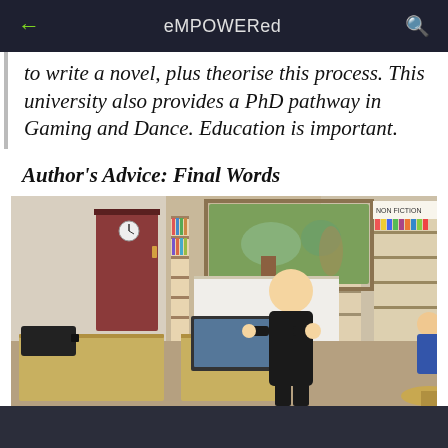eMPOWERed
to write a novel, plus theorise this process. This university also provides a PhD pathway in Gaming and Dance. Education is important.
Author's Advice: Final Words
[Figure (photo): A man in black clothing stands in front of a school library, gesturing with his hand on his chest. Bookshelves and students are visible in the background, along with a colourful painting on the wall.]